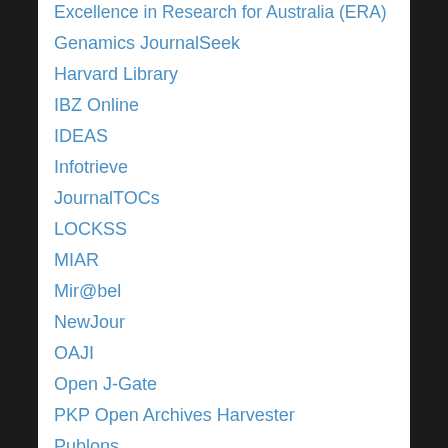Excellence in Research for Australia (ERA)
Genamics JournalSeek
Harvard Library
IBZ Online
IDEAS
Infotrieve
JournalTOCs
LOCKSS
MIAR
Mir@bel
NewJour
OAJI
Open J-Gate
PKP Open Archives Harvester
Publons
Questia Online Library
RePEc
SafetyLit